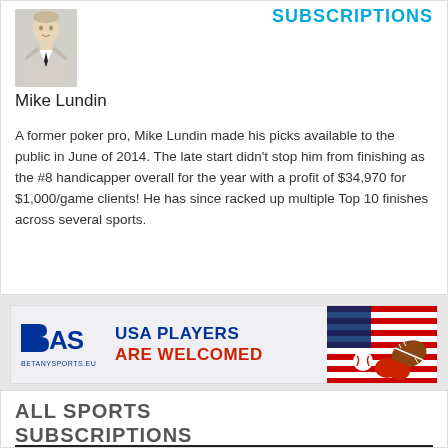SUBSCRIPTIONS
[Figure (photo): Headshot photo of Mike Lundin in a suit with tie]
Mike Lundin
A former poker pro, Mike Lundin made his picks available to the public in June of 2014. The late start didn't stop him from finishing as the #8 handicapper overall for the year with a profit of $34,970 for $1,000/game clients! He has since racked up multiple Top 10 finishes across several sports.
[Figure (illustration): BetAnySports.eu advertisement banner — USA PLAYERS ARE WELCOMED with sports imagery and American flag]
ALL SPORTS SUBSCRIPTIONS